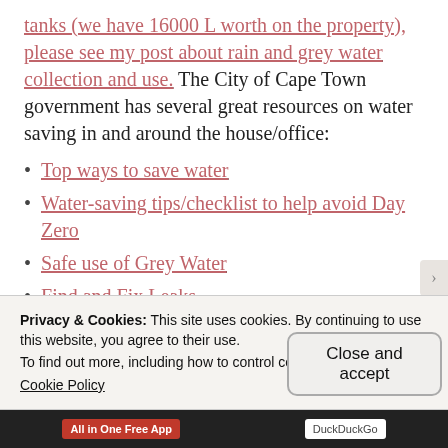tanks (we have 16000 L worth on the property), please see my post about rain and grey water collection and use. The City of Cape Town government has several great resources on water saving in and around the house/office:
Top ways to save water
Water-saving tips/checklist to help avoid Day Zero
Safe use of Grey Water
Find and Fix Leaks
Water Conservation: Smart Office
Privacy & Cookies: This site uses cookies. By continuing to use this website, you agree to their use.
To find out more, including how to control cookies, see here:
Cookie Policy